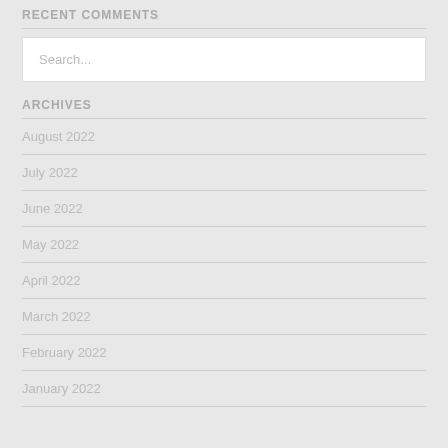RECENT COMMENTS
Search...
ARCHIVES
August 2022
July 2022
June 2022
May 2022
April 2022
March 2022
February 2022
January 2022